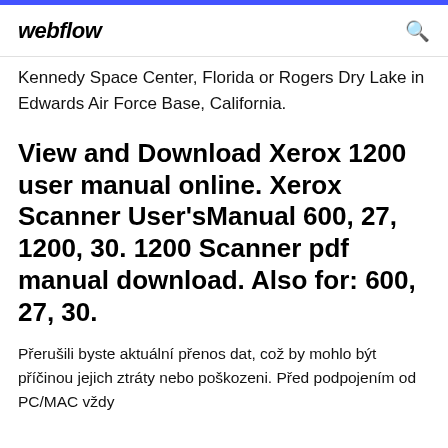webflow
Kennedy Space Center, Florida or Rogers Dry Lake in Edwards Air Force Base, California.
View and Download Xerox 1200 user manual online. Xerox Scanner User'sManual 600, 27, 1200, 30. 1200 Scanner pdf manual download. Also for: 600, 27, 30.
Přerušili byste aktuální přenos dat, což by mohlo být příčinou jejich ztráty nebo poškozeni. Před podpojením od PC/MAC vždy